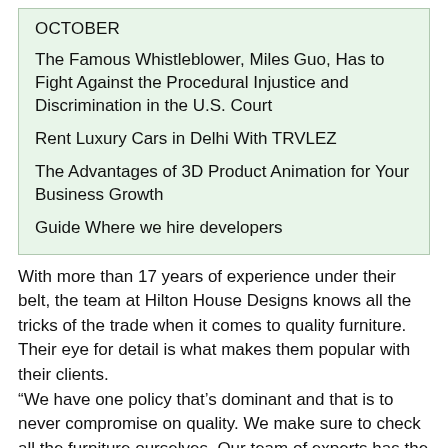OCTOBER
The Famous Whistleblower, Miles Guo, Has to Fight Against the Procedural Injustice and Discrimination in the U.S. Court
Rent Luxury Cars in Delhi With TRVLEZ
The Advantages of 3D Product Animation for Your Business Growth
Guide Where we hire developers
With more than 17 years of experience under their belt, the team at Hilton House Designs knows all the tricks of the trade when it comes to quality furniture. Their eye for detail is what makes them popular with their clients. “We have one policy that’s dominant and that is to never compromise on quality. We make sure to check all the furniture ourselves. Our team of experts has the tools and knowledge to ensure that all the furniture we sell to